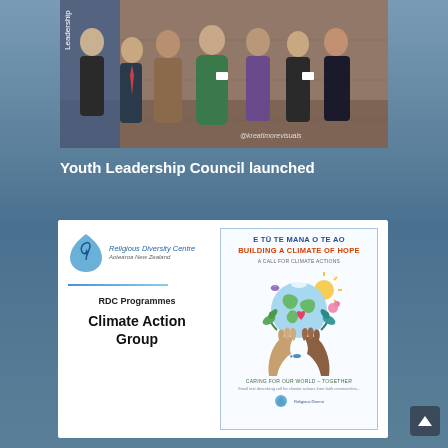[Figure (photo): Group photo of youth participants at the Youth Leadership Council launch event, posed in front of a wooden backdrop. Watermark '@kreatimorevisuals' in bottom right.]
Youth Leadership Council launched
[Figure (infographic): White card with Religious Diversity Centre Aotearoa New Zealand logo on the left showing 'RDC Programmes - Climate Action Group', and on the right a poster titled 'E TU TE MANA O TE AO - BUILDING A CLIMATE OF HOPE - A CALL FOR CLIMATE ACTIONS' with an illustration of hands holding a globe surrounded by nature elements and the text 'CARING FOR OUR WORLD - TOGETHER'.]
[Figure (other): Scroll-to-top button (dark square with upward chevron arrow) in bottom right corner.]